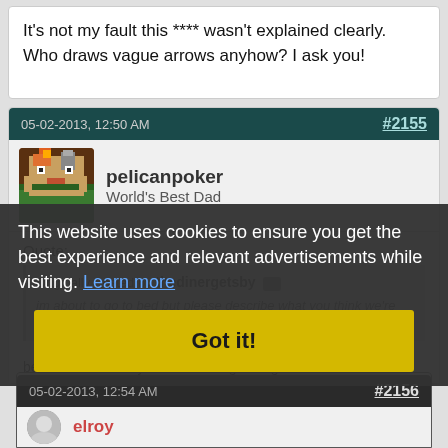It's not my fault this **** wasn't explained clearly. Who draws vague arrows anyhow? I ask you!
05-02-2013, 12:50 AM   #2155
pelicanpoker
World's Best Dad
Quote:
Originally Posted by thedinergetsby
im about to go to bed but please describe what you think we're doing wrong I guess.
better to ask what you're not doing wrong...
This website uses cookies to ensure you get the best experience and relevant advertisements while visiting. Learn more
Got it!
05-02-2013, 12:54 AM   #2156
elroy